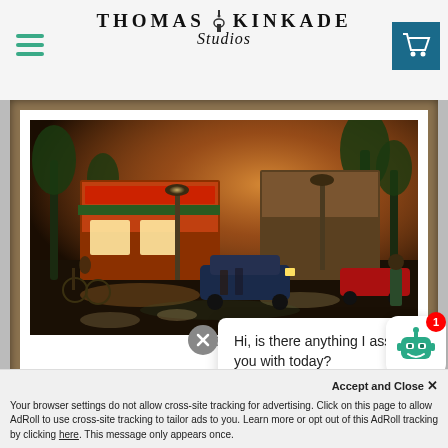[Figure (logo): Thomas Kinkade Studios logo with lamp post icon, hamburger menu on left, shopping cart icon on right]
[Figure (photo): Framed Thomas Kinkade painting of a rainy Key West street scene at dusk with shops, palm trees, cars, cyclists, and glowing streetlights, in a bronze/brown frame with white mat]
Key
Hi, is there anything I assist you with today?
SELECT OPTIONS
Accept and Close ✕
Your browser settings do not allow cross-site tracking for advertising. Click on this page to allow AdRoll to use cross-site tracking to tailor ads to you. Learn more or opt out of this AdRoll tracking by clicking here. This message only appears once.